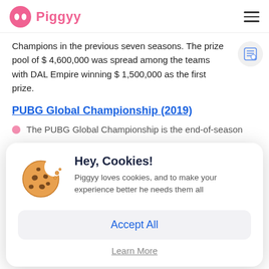Piggyy
Champions in the previous seven seasons. The prize pool of $ 4,600,000 was spread among the teams with DAL Empire winning $ 1,500,000 as the first prize.
PUBG Global Championship (2019)
The PUBG Global Championship is the end-of-season
[Figure (other): Cookie consent modal popup with cookie illustration, title 'Hey, Cookies!', description text, Accept All button, and Learn More link]
the 1st prize of $2,000,000